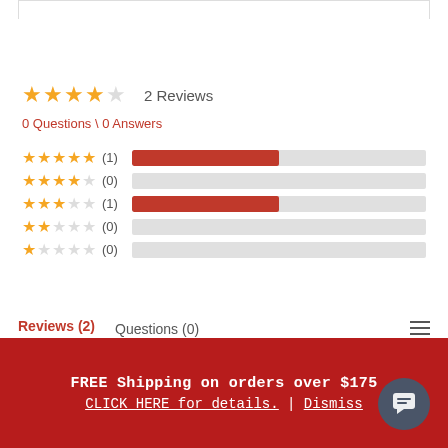[Figure (other): Overall star rating: 4 out of 5 stars]
2 Reviews
0 Questions \ 0 Answers
[Figure (bar-chart): Rating breakdown]
Reviews (2)   Questions (0)
FREE Shipping on orders over $175
CLICK HERE for details. | Dismiss